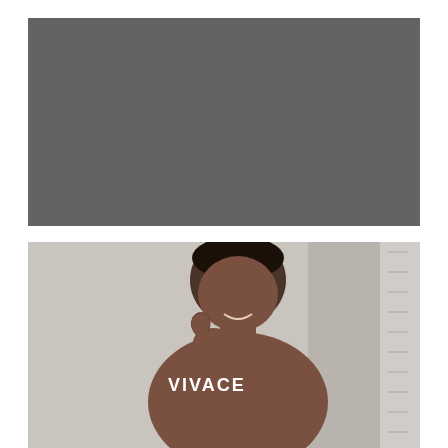[Figure (photo): Dark gray/charcoal background panel with white bold text reading 'PLATELET RICH FIBRIN' centered-left on the panel]
[Figure (photo): Photo of a smiling young Black man touching his chin/face, light gray background, with white bold text 'VIVACE' overlaid on the image]